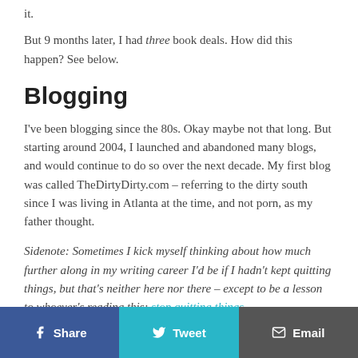it.
But 9 months later, I had three book deals. How did this happen? See below.
Blogging
I've been blogging since the 80s. Okay maybe not that long. But starting around 2004, I launched and abandoned many blogs, and would continue to do so over the next decade. My first blog was called TheDirtyDirty.com – referring to the dirty south since I was living in Atlanta at the time, and not porn, as my father thought.
Sidenote: Sometimes I kick myself thinking about how much further along in my writing career I'd be if I hadn't kept quitting things, but that's neither here nor there – except to be a lesson to whoever's reading this: stop quitting things.
Share   Tweet   Email